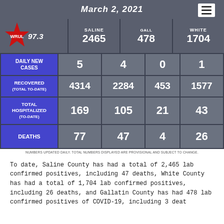March 2, 2021
[Figure (logo): WRUL 97.3 radio station logo with red star]
|  | COUNTY | SALINE | GALLATIN | WHITE |
| --- | --- | --- | --- | --- |
| LAB CONFIRMED POSITIVES |  | 2465 | 478 | 1704 |
| DAILY NEW CASES | 5 | 4 | 0 | 1 |
| RECOVERED (TOTAL TO-DATE) | 4314 | 2284 | 453 | 1577 |
| TOTAL HOSPITALIZED (TO-DATE) | 169 | 105 | 21 | 43 |
| DEATHS | 77 | 47 | 4 | 26 |
NUMBERS UPDATED DAILY. TOTAL NUMBERS DISPLAYED ARE PROVISIONAL AND SUBJECT TO CHANGE.
To date, Saline County has had a total of 2,465 lab confirmed positives, including 47 deaths, White County has had a total of 1,704 lab confirmed positives, including 26 deaths, and Gallatin County has had 478 lab confirmed positives of COVID-19, including 3 deaths.